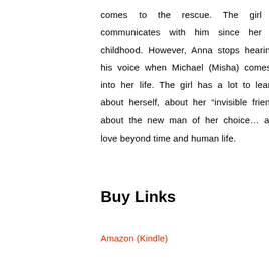comes to the rescue. The girl communicates with him since her childhood. However, Anna stops hearing his voice when Michael (Misha) comes into her life. The girl has a lot to learn – about herself, about her “invisible friend”, about the new man of her choice… and love beyond time and human life.
Buy Links
Amazon (Kindle)